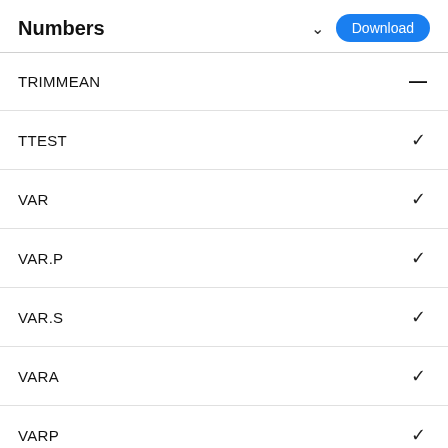Numbers
| Function | Supported |
| --- | --- |
| TRIMMEAN | — |
| TTEST | ✓ |
| VAR | ✓ |
| VAR.P | ✓ |
| VAR.S | ✓ |
| VARA | ✓ |
| VARP | ✓ |